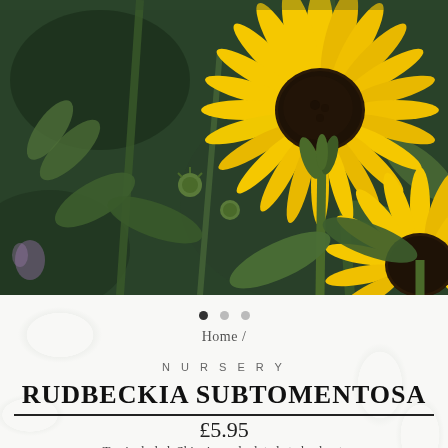[Figure (photo): Close-up photograph of yellow Rudbeckia subtomentosa (black-eyed Susan) flowers with dark brown centers, surrounded by green stems and leaves, against a dark green blurred background.]
• • •
Home /
NURSERY
RUDBECKIA SUBTOMENTOSA
£5.95
Tax included. Shipping calculated at checkout.